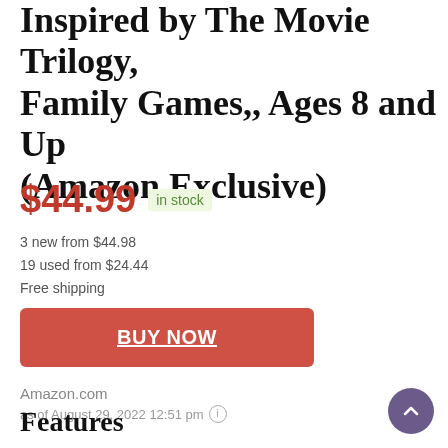Inspired by The Movie Trilogy, Family Games,, Ages 8 and Up (Amazon Exclusive)
$44.99  in stock
3 new from $44.98
19 used from $24.44
Free shipping
BUY NOW
Amazon.com
as of August 29, 2022 12:51 pm
Features